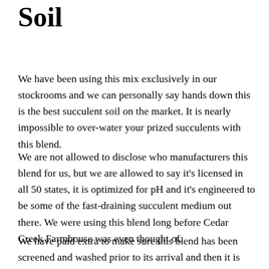Soil
We have been using this mix exclusively in our stockrooms and we can personally say hands down this is the best succulent soil on the market. It is nearly impossible to over-water your prized succulents with this blend.
We are not allowed to disclose who manufacturers this blend for us, but we are allowed to say it's licensed in all 50 states, it is optimized for pH and it's engineered to be some of the fast-draining succulent medium out there. We were using this blend long before Cedar Creek Farmhouse was even thought of.
We have paid extra to make sure this blend has been screened and washed prior to its arrival and then it is stored in air tight containers before being packaged, fresh for you. We allow our soil to breathe once a week and it is